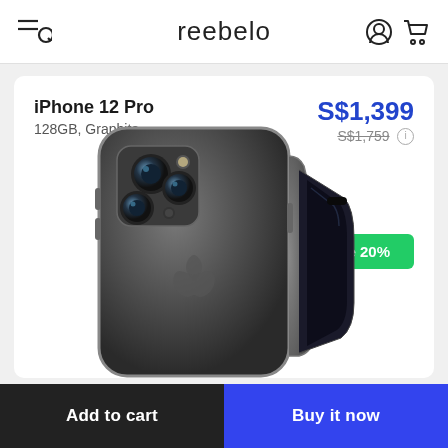reebelo
iPhone 12 Pro
128GB, Graphite
S$1,399
S$1,759
[Figure (photo): iPhone 12 Pro in Graphite color, showing rear and side view with triple camera system and Apple logo]
Save 20%
Add to cart
Buy it now